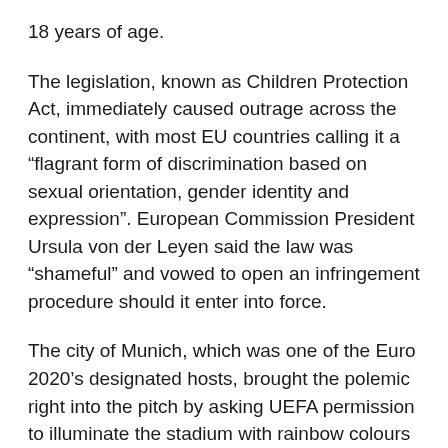18 years of age.
The legislation, known as Children Protection Act, immediately caused outrage across the continent, with most EU countries calling it a “flagrant form of discrimination based on sexual orientation, gender identity and expression”. European Commission President Ursula von der Leyen said the law was “shameful” and vowed to open an infringement procedure should it enter into force.
The city of Munich, which was one of the Euro 2020’s designated hosts, brought the polemic right into the pitch by asking UEFA permission to illuminate the stadium with rainbow colours during the match between Germany and Hungary.
“Given the political context of this specific request – a message aiming at a decision taken by the Hungarian national parliament – UEFA must decline this request,” the